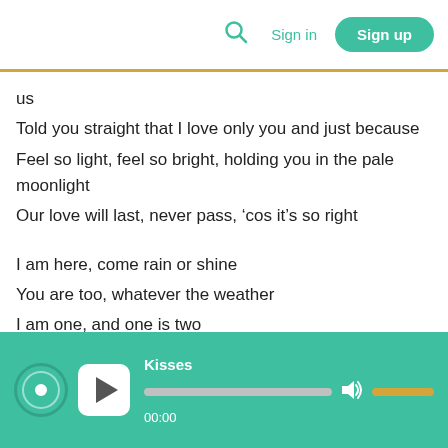Sign in | Sign up
us
Told you straight that I love only you and just because
Feel so light, feel so bright, holding you in the pale moonlight
Our love will last, never pass, ‘cos it’s so right
I am here, come rain or shine
You are too, whatever the weather
I am one, and one is two
And so we’ll be, for ever and ever
[Figure (screenshot): Audio player bar showing track title 'Kisses', play button, progress bar at 00:00, volume icon and volume bar]